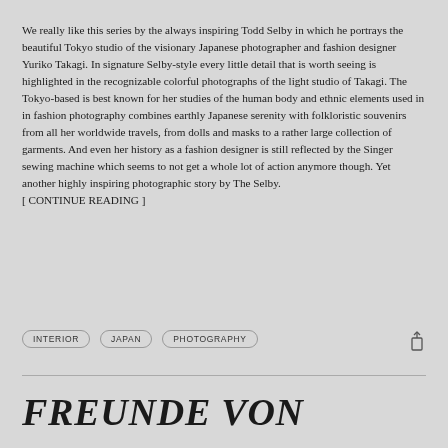We really like this series by the always inspiring Todd Selby in which he portrays the beautiful Tokyo studio of the visionary Japanese photographer and fashion designer Yuriko Takagi. In signature Selby-style every little detail that is worth seeing is highlighted in the recognizable colorful photographs of the light studio of Takagi. The Tokyo-based is best known for her studies of the human body and ethnic elements used in in fashion photography combines earthly Japanese serenity with folkloristic souvenirs from all her worldwide travels, from dolls and masks to a rather large collection of garments. And even her history as a fashion designer is still reflected by the Singer sewing machine which seems to not get a whole lot of action anymore though. Yet another highly inspiring photographic story by The Selby.
[ CONTINUE READING ]
INTERIOR
JAPAN
PHOTOGRAPHY
FREUNDE VON